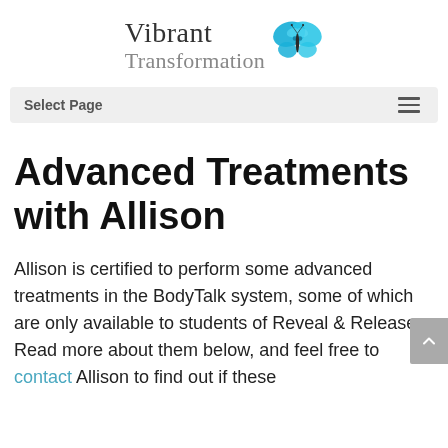[Figure (logo): Vibrant Transformation logo with a blue butterfly and stylized text]
Select Page
Advanced Treatments with Allison
Allison is certified to perform some advanced treatments in the BodyTalk system, some of which are only available to students of Reveal & Release. Read more about them below, and feel free to contact Allison to find out if these